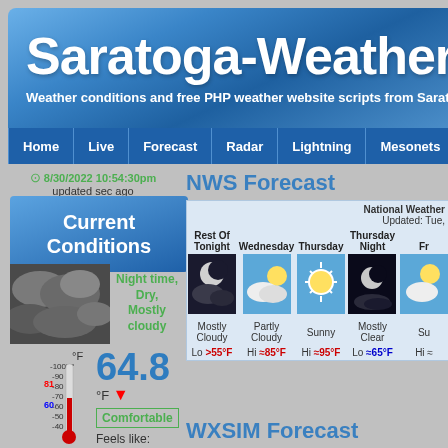Saratoga-Weather
Weather conditions and free PHP weather website scripts from Sarat
Home | Live | Forecast | Radar | Lightning | Mesonets | Trop
8/30/2022 10:54:30pm updated sec ago
Current Conditions
[Figure (photo): Night sky with mostly cloudy conditions - grayscale cloud image]
Night time, Dry, Mostly cloudy
[Figure (infographic): Thermometer showing 64.8°F with 81 high and 60 low marks]
64.8 °F (arrow down) Comfortable Feels like: 65°F
NWS Forecast
National Weather
Updated: Tue,
| Rest Of Tonight | Wednesday | Thursday | Thursday Night | Fr |
| --- | --- | --- | --- | --- |
| [night cloudy icon] | [partly cloudy icon] | [sunny icon] | [night clear icon] | [icon] |
| Mostly Cloudy | Partly Cloudy | Sunny | Mostly Clear | Su |
| Lo >55°F | Hi ≈85°F | Hi ≈95°F | Lo ≈65°F | Hi ≈ |
WXSIM Forecast